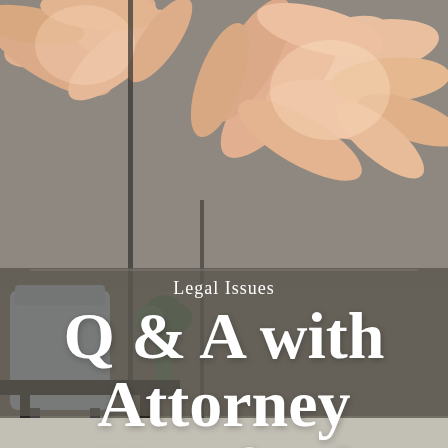[Figure (photo): Background photo of a modern interior with a sculptural white floral/leaf pendant light hanging from the ceiling, and a blurred dining or lounge area in the background with gray-taupe tones. A semi-transparent dark overlay covers the lower half with white text overlaid.]
Legal Issues
Q & A with Attorney Hartford